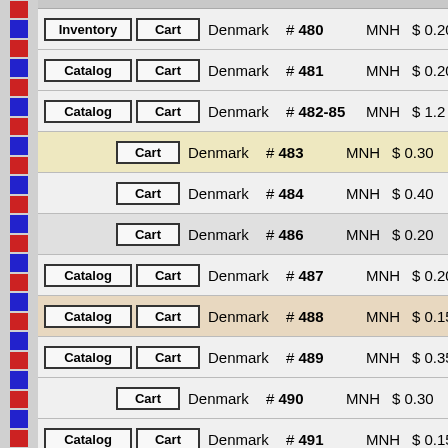| Button1 | Button2 | Country | Number | Condition | Price |
| --- | --- | --- | --- | --- | --- |
| Inventory | Cart | Denmark | # 480 | MNH | $ 0.20 |
| Catalog | Cart | Denmark | # 481 | MNH | $ 0.20 |
| Catalog | Cart | Denmark | # 482-85 | MNH | $ 1.2 |
|  | Cart | Denmark | # 483 | MNH | $ 0.30 |
|  | Cart | Denmark | # 484 | MNH | $ 0.40 |
|  | Cart | Denmark | # 486 | MNH | $ 0.20 |
| Catalog | Cart | Denmark | # 487 | MNH | $ 0.20 |
| Catalog | Cart | Denmark | # 488 | MNH | $ 0.15 |
| Catalog | Cart | Denmark | # 489 | MNH | $ 0.35 |
|  | Cart | Denmark | # 490 | MNH | $ 0.30 |
| Catalog | Cart | Denmark | # 491 | MNH | $ 0.15 |